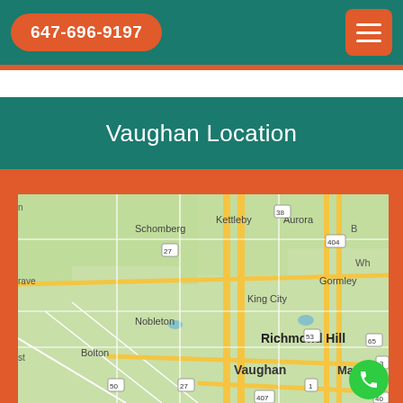647-696-9197
Vaughan Location
[Figure (map): Google Maps view showing Vaughan and surrounding area including Schomberg, Kettleby, Aurora, Gormley, King City, Richmond Hill, Markham, Nobleton, Bolton, with highway markers 27, 38, 404, 65, 3, 53, 50, 1, 407, 40]